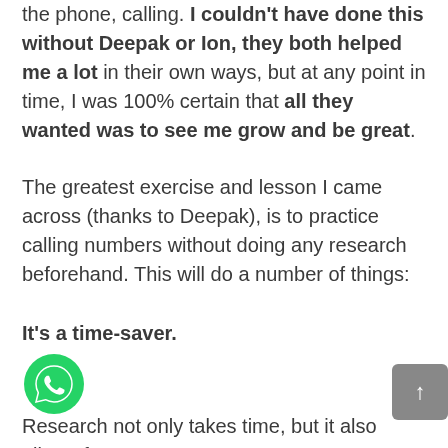the phone, calling. I couldn't have done this without Deepak or Ion, they both helped me a lot in their own ways, but at any point in time, I was 100% certain that all they wanted was to see me grow and be great.
The greatest exercise and lesson I came across (thanks to Deepak), is to practice calling numbers without doing any research beforehand. This will do a number of things:
It's a time-saver.
Research not only takes time, but it also allows for